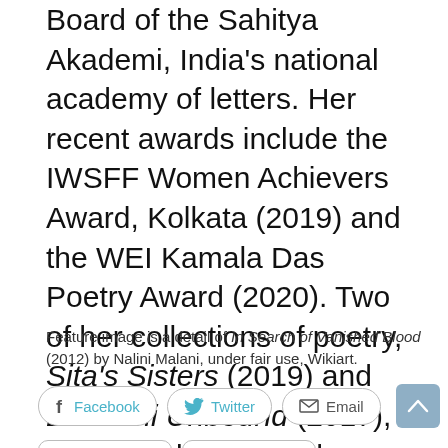the Convener of the English Language Board of the Sahitya Akademi, India's national academy of letters. Her recent awards include the IWSFF Women Achievers Award, Kolkata (2019) and the WEI Kamala Das Poetry Award (2020). Two of her collections of poetry, Sita's Sisters (2019) and Lakshmi Unbound (2017), are available to purchase online in the UK.
Feature image is a detail of In Search of Vanished Blood (2012) by Nalini Malani, under fair use, Wikiart.